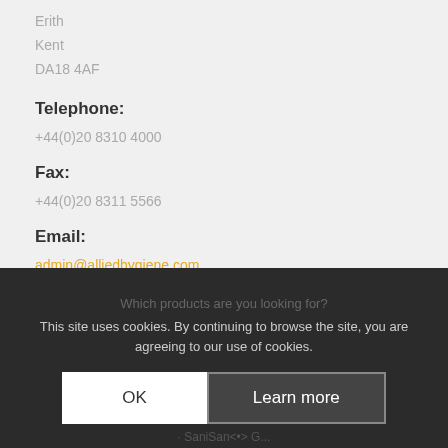Erith
Kent
DA18 4AF
Telephone:
+44(0)20 8310 4000
Fax:
+44(0)20 8311 5566
Email:
admin@alliedhygiene.com
This site uses cookies. By continuing to browse the site, you are agreeing to our use of cookies.
Which products are you looking for?
· SaniSan<•> G...
OK
Learn more